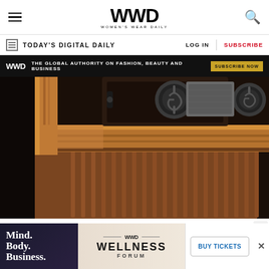WWD — Women's Wear Daily
TODAY'S DIGITAL DAILY | LOG IN | SUBSCRIBE
[Figure (photo): Close-up product photo of a luxury watch winder or case in copper/rose gold metallic finish with circular dial holders and brushed metal accents on dark background]
[Figure (infographic): WWD advertisement banner: THE GLOBAL AUTHORITY ON FASHION, BEAUTY AND BUSINESS — SUBSCRIBE NOW]
[Figure (infographic): WWD Wellness Forum advertisement: Mind. Body. Business. — BUY TICKETS]